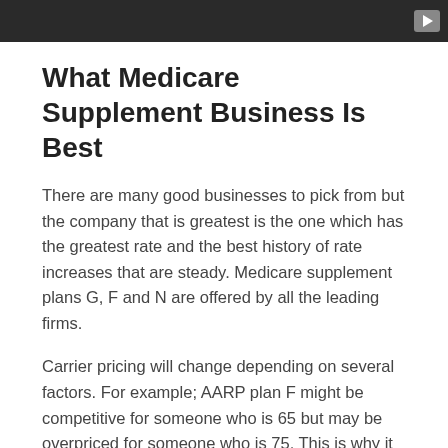[Figure (screenshot): Dark video player bar with a play button in the top-right corner]
What Medicare Supplement Business Is Best
There are many good businesses to pick from but the company that is greatest is the one which has the greatest rate and the best history of rate increases that are steady. Medicare supplement plans G, F and N are offered by all the leading firms.
Carrier pricing will change depending on several factors. For example; AARP plan F might be competitive for someone who is 65 but may be overpriced for someone who is 75. This is why it is important to ensure you aren't going to be overpaying for your coverage by getting free quotes